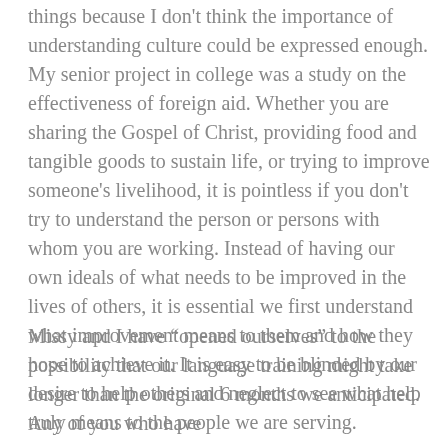things because I don't think the importance of understanding culture could be expressed enough.  My senior project in college was a study on the effectiveness of foreign aid.  Whether you are sharing the Gospel of Christ, providing food and tangible goods to sustain life, or trying to improve someone's livelihood, it is pointless if you don't try to understand the person or persons with whom you are working.  Instead of having our own ideals of what needs to be improved in the lives of others, it is essential we first understand what improvement means to them and how they hope to achieve it.  It is easy to be blinded by our desire to help others and neglect to see what help truly means to the people we are serving.
Missy and I have “opened ourselves” to the possibility that our language training might take longer than the original 6 months we anticipated.  Any of you who have